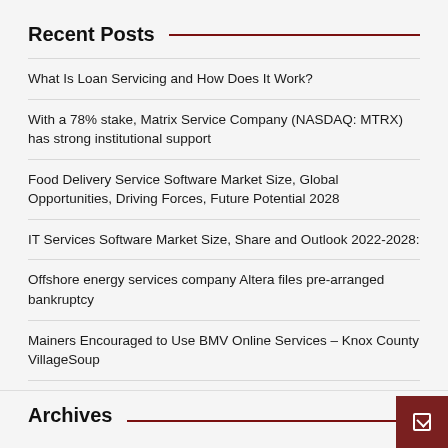Recent Posts
What Is Loan Servicing and How Does It Work?
With a 78% stake, Matrix Service Company (NASDAQ: MTRX) has strong institutional support
Food Delivery Service Software Market Size, Global Opportunities, Driving Forces, Future Potential 2028
IT Services Software Market Size, Share and Outlook 2022-2028:
Offshore energy services company Altera files pre-arranged bankruptcy
Mainers Encouraged to Use BMV Online Services – Knox County VillageSoup
Archives